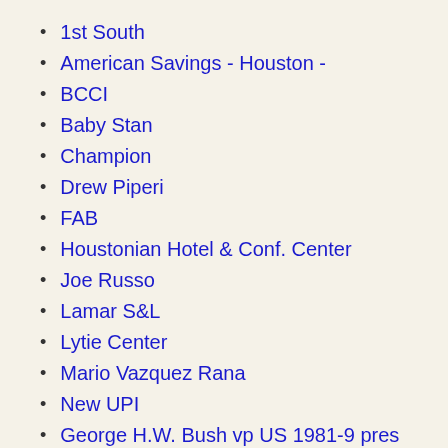1st South
American Savings - Houston -
BCCI
Baby Stan
Champion
Drew Piperi
FAB
Houstonian Hotel & Conf. Center
Joe Russo
Lamar S&L
Lytie Center
Mario Vazquez Rana
New UPI
George H.W. Bush vp US 1981-9 pres US 1989-93
Ronald Piperi
Russo Co
Russo Group
San Jacinto